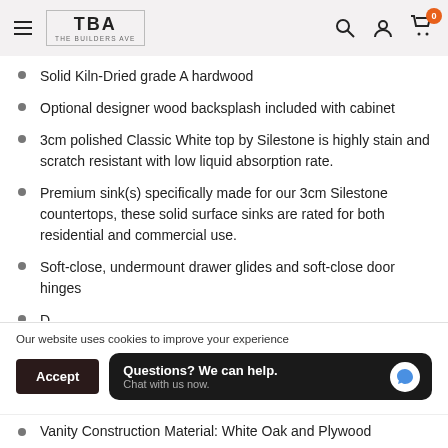TBA THE BUILDERS AVE — navigation header with search, account, cart icons
Solid Kiln-Dried grade A hardwood
Optional designer wood backsplash included with cabinet
3cm polished Classic White top by Silestone is highly stain and scratch resistant with low liquid absorption rate.
Premium sink(s) specifically made for our 3cm Silestone countertops, these solid surface sinks are rated for both residential and commercial use.
Soft-close, undermount drawer glides and soft-close door hinges
Our website uses cookies to improve your experience
Accept
Questions? We can help. Chat with us now.
Vanity Construction Material: White Oak and Plywood